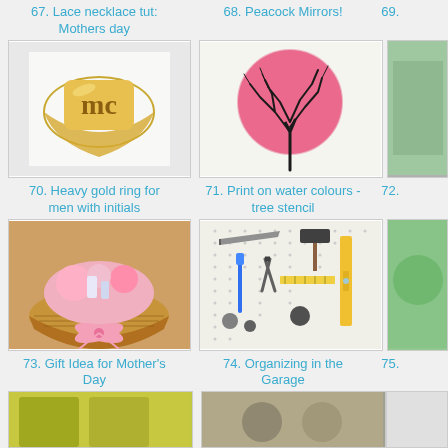67. Lace necklace tut: Mothers day
[Figure (photo): Gold ring with initials]
68. Peacock Mirrors!
[Figure (photo): Pink watercolor circle with black tree silhouette]
69.
70. Heavy gold ring for men with initials
71. Print on water colours - tree stencil
72.
[Figure (photo): Gift basket with pink items for Mother's Day]
73. Gift Idea for Mother's Day
[Figure (photo): Pegboard with tools organized on wall]
74. Organizing in the Garage
75.